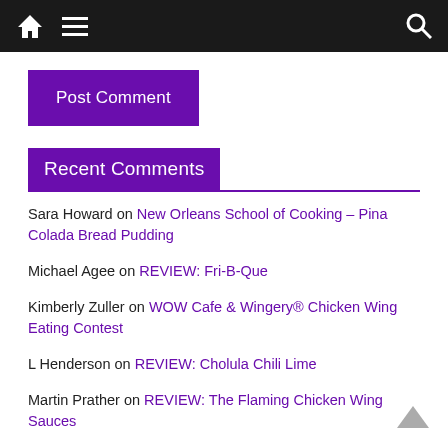Navigation bar with home, menu, and search icons
Post Comment
Recent Comments
Sara Howard on New Orleans School of Cooking – Pina Colada Bread Pudding
Michael Agee on REVIEW: Fri-B-Que
Kimberly Zuller on WOW Cafe & Wingery® Chicken Wing Eating Contest
L Henderson on REVIEW: Cholula Chili Lime
Martin Prather on REVIEW: The Flaming Chicken Wing Sauces